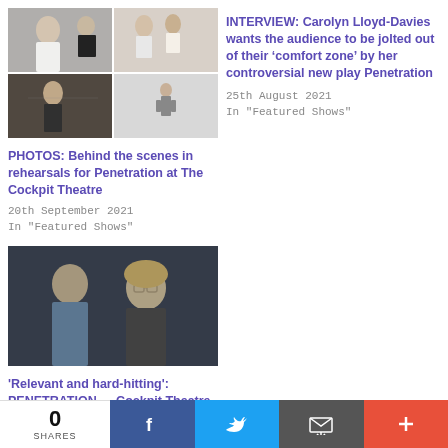[Figure (photo): Grid of 4 rehearsal photos from Penetration at The Cockpit Theatre showing dancers and actors]
PHOTOS: Behind the scenes in rehearsals for Penetration at The Cockpit Theatre
20th September 2021
In "Featured Shows"
INTERVIEW: Carolyn Lloyd-Davies wants the audience to be jolted out of their ‘comfort zone’ by her controversial new play Penetration
25th August 2021
In "Featured Shows"
[Figure (photo): Two actors on stage — a man leaning toward a blonde woman wearing glasses, in a dark scene]
'Relevant and hard-hitting': PENETRATION — Cockpit Theatre
0 SHARES  [Facebook] [Twitter] [Email] [More]